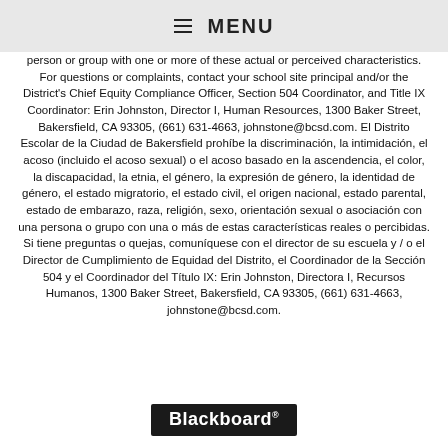≡ MENU
person or group with one or more of these actual or perceived characteristics. For questions or complaints, contact your school site principal and/or the District's Chief Equity Compliance Officer, Section 504 Coordinator, and Title IX Coordinator: Erin Johnston, Director I, Human Resources, 1300 Baker Street, Bakersfield, CA 93305, (661) 631-4663, johnstone@bcsd.com. El Distrito Escolar de la Ciudad de Bakersfield prohíbe la discriminación, la intimidación, el acoso (incluido el acoso sexual) o el acoso basado en la ascendencia, el color, la discapacidad, la etnia, el género, la expresión de género, la identidad de género, el estado migratorio, el estado civil, el origen nacional, estado parental, estado de embarazo, raza, religión, sexo, orientación sexual o asociación con una persona o grupo con una o más de estas características reales o percibidas. Si tiene preguntas o quejas, comuníquese con el director de su escuela y / o el Director de Cumplimiento de Equidad del Distrito, el Coordinador de la Sección 504 y el Coordinador del Título IX: Erin Johnston, Directora I, Recursos Humanos, 1300 Baker Street, Bakersfield, CA 93305, (661) 631-4663, johnstone@bcsd.com.
Blackboard